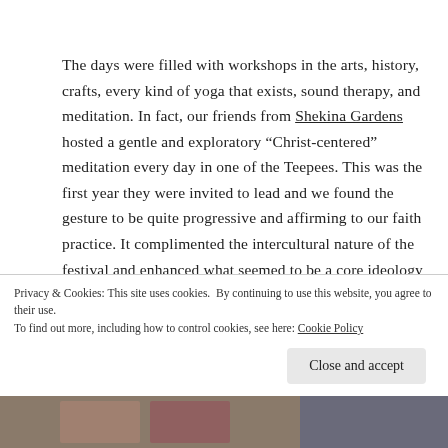The days were filled with workshops in the arts, history, crafts, every kind of yoga that exists, sound therapy, and meditation. In fact, our friends from Shekina Gardens hosted a gentle and exploratory “Christ-centered” meditation every day in one of the Teepees. This was the first year they were invited to lead and we found the gesture to be quite progressive and affirming to our faith practice. It complimented the intercultural nature of the festival and enhanced what seemed to be a core ideology of an open and simple life for all, free from greed, destruction, and war.
Privacy & Cookies: This site uses cookies. By continuing to use this website, you agree to their use.
To find out more, including how to control cookies, see here: Cookie Policy
Close and accept
[Figure (photo): Partial photo strip at bottom of page showing people]